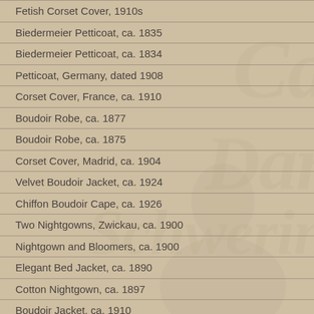Fetish Corset Cover, 1910s
Biedermeier Petticoat, ca. 1835
Biedermeier Petticoat, ca. 1834
Petticoat, Germany, dated 1908
Corset Cover, France, ca. 1910
Boudoir Robe, ca. 1877
Boudoir Robe, ca. 1875
Corset Cover, Madrid, ca. 1904
Velvet Boudoir Jacket, ca. 1924
Chiffon Boudoir Cape, ca. 1926
Two Nightgowns, Zwickau, ca. 1900
Nightgown and Bloomers, ca. 1900
Elegant Bed Jacket, ca. 1890
Cotton Nightgown, ca. 1897
Boudoir Jacket, ca. 1910
Cotton Negligee, ca. 1904
Red Petticoat, ca. 1900
Camisole, ca. 1908
Biedermeier Petticoat, ca. 1840
Corset Cover, ca. 1906